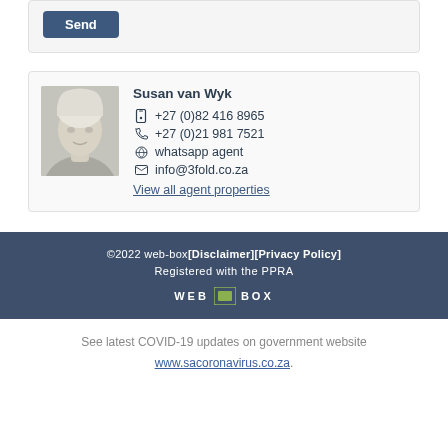Send
Susan van Wyk
+27 (0)82 416 8965
+27 (0)21 981 7521
whatsapp agent
info@3fold.co.za
View all agent properties
©2022 web-box [Disclaimer][Privacy Policy]
Registered with the PPRA
WEB BOX
See latest COVID-19 updates on government website www.sacoronavirus.co.za.